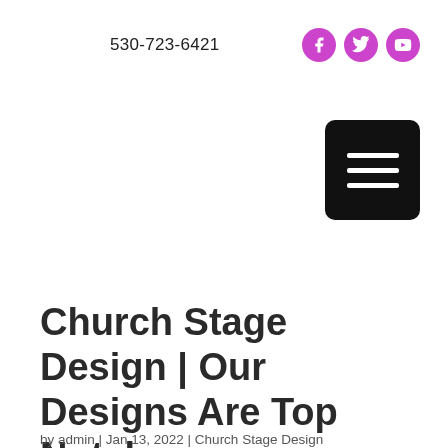530-723-6421
[Figure (infographic): Three purple circular social media icons: Facebook, Twitter, YouTube]
[Figure (infographic): Black rounded rectangle menu button with three horizontal white lines (hamburger menu)]
Church Stage Design | Our Designs Are Top Notch
by admin | Jan 13, 2022 | Church Stage Design